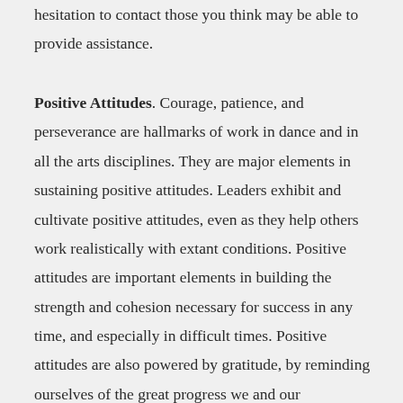hesitation to contact those you think may be able to provide assistance.
Positive Attitudes. Courage, patience, and perseverance are hallmarks of work in dance and in all the arts disciplines. They are major elements in sustaining positive attitudes. Leaders exhibit and cultivate positive attitudes, even as they help others work realistically with extant conditions. Positive attitudes are important elements in building the strength and cohesion necessary for success in any time, and especially in difficult times. Positive attitudes are also powered by gratitude, by reminding ourselves of the great progress we and our predecessors have made in a relatively short